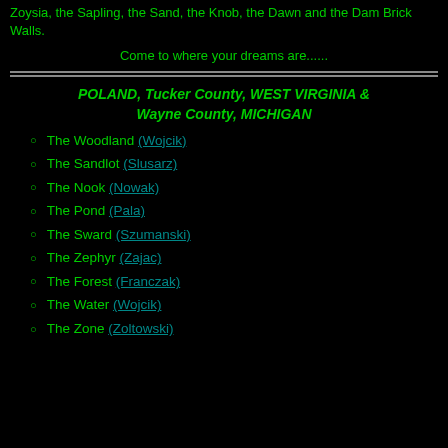Zoysia, the Sapling, the Sand, the Knob, the Dawn and the Dam Brick Walls.
Come to where your dreams are......
POLAND, Tucker County, WEST VIRGINIA & Wayne County, MICHIGAN
The Woodland (Wojcik)
The Sandlot (Slusarz)
The Nook (Nowak)
The Pond (Pala)
The Sward (Szumanski)
The Zephyr (Zajac)
The Forest (Franczak)
The Water (Wojcik)
The Zone (Zoltowski)